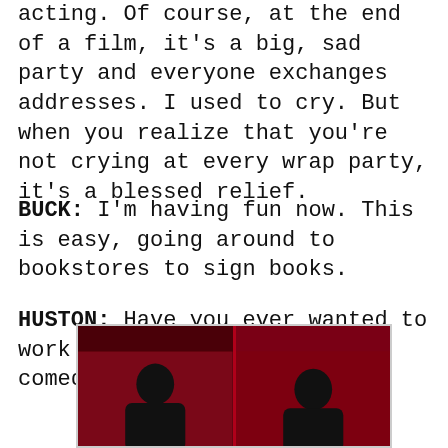acting. Of course, at the end of a film, it's a big, sad party and everyone exchanges addresses. I used to cry. But when you realize that you're not crying at every wrap party, it's a blessed relief.
BUCK: I'm having fun now. This is easy, going around to bookstores to sign books.
HUSTON: Have you ever wanted to work with someone? Write a comedy?
[Figure (photo): Two side-by-side photos of people against a dark red background, partially visible at the bottom of the page.]